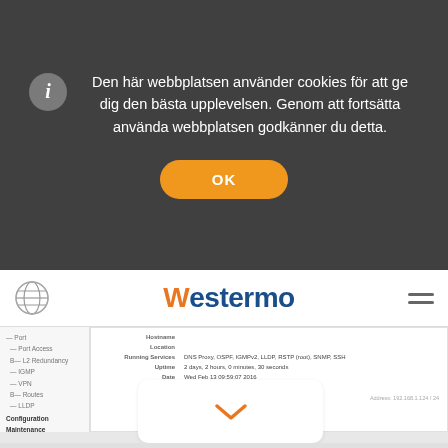Den här webbplatsen använder cookies för att ge dig den bästa upplevelsen. Genom att fortsätta använda webbplatsen godkänner du detta.
OK
[Figure (screenshot): Westermo website navigation bar with globe icon, Westermo logo in blue/orange, and hamburger menu icon]
[Figure (screenshot): Westermo device management interface showing sidebar menu with Port, Port Access, L2 Redundancy, IGMP, VPN, Routes, LLDP, Configuration, Maintenance, Tools, Logout, Help items, and main panel with Hostname, Location, Running Services (DNS Proxy, OSPF, IGMP, LLDP, RSTP (root), SNMP, SSH), Uptime (2 days, 2 hours, 0 minutes, 30 seconds), Date (Wed Feb 13 09:59:07 2016), Alarms (None), and Address info]
[Figure (screenshot): White card with orange chevron/arrow pointing downward]